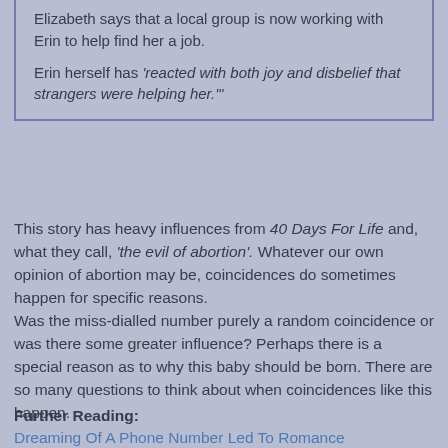Elizabeth says that a local group is now working with Erin to help find her a job.
Erin herself has 'reacted with both joy and disbelief that strangers were helping her.'"
This story has heavy influences from 40 Days For Life and, what they call, 'the evil of abortion'. Whatever our own opinion of abortion may be, coincidences do sometimes happen for specific reasons.
Was the miss-dialled number purely a random coincidence or was there some greater influence? Perhaps there is a special reason as to why this baby should be born. There are so many questions to think about when coincidences like this happen.
Further Reading:
Dreaming Of A Phone Number Led To Romance